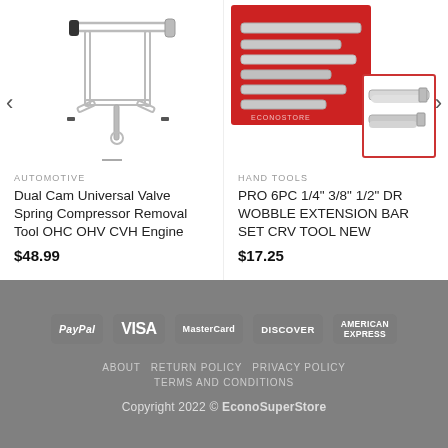[Figure (photo): Dual Cam Universal Valve Spring Compressor tool photo on white background]
[Figure (photo): PRO 6PC wobble extension bar set in red case, with detail photo of individual bars]
AUTOMOTIVE
Dual Cam Universal Valve Spring Compressor Removal Tool OHC OHV CVH Engine
$48.99
HAND TOOLS
PRO 6PC 1/4" 3/8" 1/2" DR WOBBLE EXTENSION BAR SET CRV TOOL NEW
$17.25
PayPal  VISA  MasterCard  DISCOVER  AMERICAN EXPRESS
ABOUT  RETURN POLICY  PRIVACY POLICY  TERMS AND CONDITIONS
Copyright 2022 © EconoSuperStore